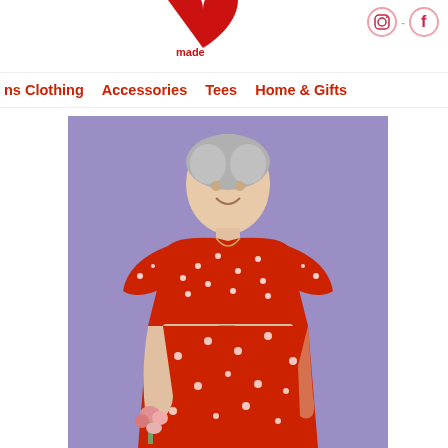[Figure (logo): Partial red heart logo with 'made' text visible at bottom]
[Figure (logo): Instagram and Facebook social media icons, pink circle outlines]
ns Clothing   Accessories   Tees   Home & Gifts
[Figure (photo): Woman with short grey hair smiling, wearing a red floral dress with white daisy pattern, belted at waist, holding a small bouquet of pink flowers, posed against a lavender/purple background]